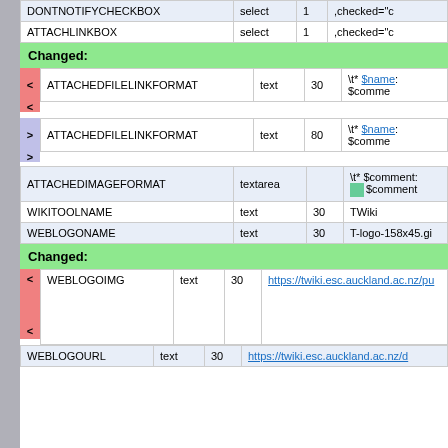| Name | Type | Size | Value |
| --- | --- | --- | --- |
| DONTNOTIFYCHECKBOX | select | 1 | ,checked="c |
| ATTACHLINKBOX | select | 1 | ,checked="c |
Changed:
| Name | Type | Size | Value |
| --- | --- | --- | --- |
| ATTACHEDFILELINKFORMAT | text | 30 | \t* $name: $comme |
| ATTACHEDFILELINKFORMAT | text | 80 | \t* $name: $comme |
| Name | Type | Size | Value |
| --- | --- | --- | --- |
| ATTACHEDIMAGEFORMAT | textarea |  | \t* $comment: <img ...>$comment |
| WIKITOOLNAME | text | 30 | TWiki |
| WEBLOGONAME | text | 30 | T-logo-158x45.gi |
Changed:
| Name | Type | Size | Value |
| --- | --- | --- | --- |
| WEBLOGOIMG | text | 30 | https://twiki.esc.auckland.ac.nz/pu |
| WEBLOGOURL | text | 30 | https://twiki.esc.auckland.ac.nz/d |